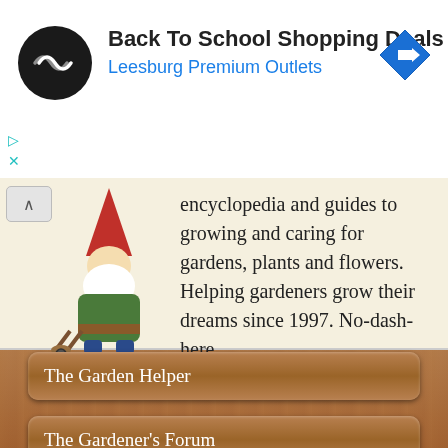[Figure (screenshot): Ad banner: Back To School Shopping Deals at Leesburg Premium Outlets with circular black logo and blue navigation arrow icon]
encyclopedia and guides to growing and caring for gardens, plants and flowers. Helping gardeners grow their dreams since 1997. No-dash-here.
[Figure (illustration): Garden gnome figurine with red hat pushing a wheelbarrow]
The Garden Helper
The Gardener's Forum
Forum Archive
Garden Calendar
Gardening in August